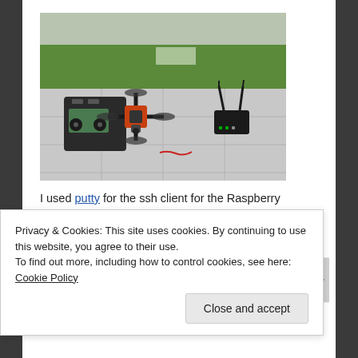[Figure (photo): Drone/quadrotor UAV with remote controller on the left and a WiFi router on the right, placed on concrete pavement with grass in the background.]
I used putty for the ssh client for the Raspberry Pi. The basic operation procedures in running ROS is as follows.
Privacy & Cookies: This site uses cookies. By continuing to use this website, you agree to their use.
To find out more, including how to control cookies, see here: Cookie Policy